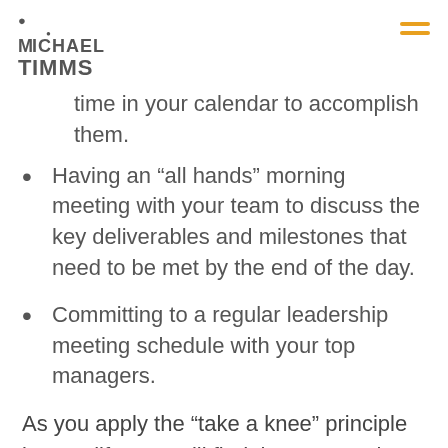MICHAEL TIMMS
time in your calendar to accomplish them.
Having an “all hands” morning meeting with your team to discuss the key deliverables and milestones that need to be met by the end of the day.
Committing to a regular leadership meeting schedule with your top managers.
As you apply the “take a knee” principle in your life, you will find that you are less stressed, your days are less hurried, and you will actually be able to get more work done with higher quality.